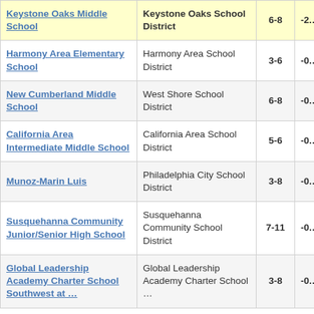| School | District | Grades | Score |
| --- | --- | --- | --- |
| Keystone Oaks Middle School | Keystone Oaks School District | 6-8 | -2.… |
| Harmony Area Elementary School | Harmony Area School District | 3-6 | -0.… |
| New Cumberland Middle School | West Shore School District | 6-8 | -0.… |
| California Area Intermediate Middle School | California Area School District | 5-6 | -0.… |
| Munoz-Marin Luis | Philadelphia City School District | 3-8 | -0.… |
| Susquehanna Community Junior/Senior High School | Susquehanna Community School District | 7-11 | -0.… |
| Global Leadership Academy Charter School Southwest at … | Global Leadership Academy Charter School … | 3-8 | -0.… |